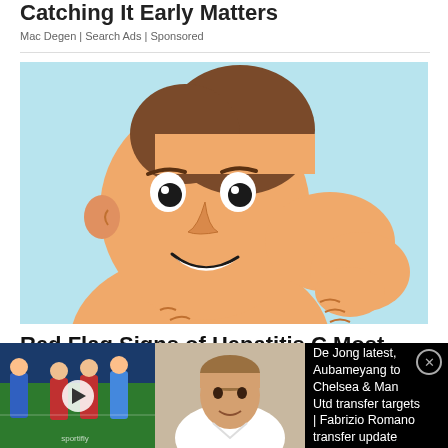Catching It Early Matters
Mac Degen | Search Ads | Sponsored
[Figure (illustration): Cartoon illustration of a shirtless man scratching his back, depicted on a light blue background.]
Red Flag Signs of Hepatitis C Most People
[Figure (screenshot): Video bar overlay at bottom of screen showing two soccer/football match thumbnails on the left with a play button, a man in a white shirt in the center thumbnail, and text: De Jong latest, Aubameyang to Chelsea & Man Utd transfer targets | Fabrizio Romano transfer update]